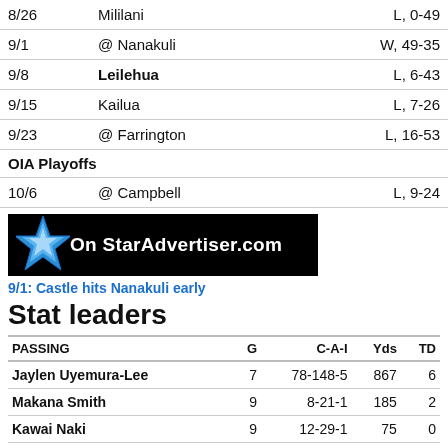| Date | Opponent | Result |
| --- | --- | --- |
| 8/26 | Mililani | L, 0-49 |
| 9/1 | @ Nanakuli | W, 49-35 |
| 9/8 | Leilehua | L, 6-43 |
| 9/15 | Kailua | L, 7-26 |
| 9/23 | @ Farrington | L, 16-53 |
| OIA Playoffs |  |  |
| 10/6 | @ Campbell | L, 9-24 |
[Figure (logo): On StarAdvertiser.com banner logo with blue star on black background]
9/1: Castle hits Nanakuli early
Stat leaders
| PASSING | G | C-A-I | Yds | TD |
| --- | --- | --- | --- | --- |
| Jaylen Uyemura-Lee | 7 | 78-148-5 | 867 | 6 |
| Makana Smith | 9 | 8-21-1 | 185 | 2 |
| Kawai Naki | 9 | 12-29-1 | 75 | 0 |